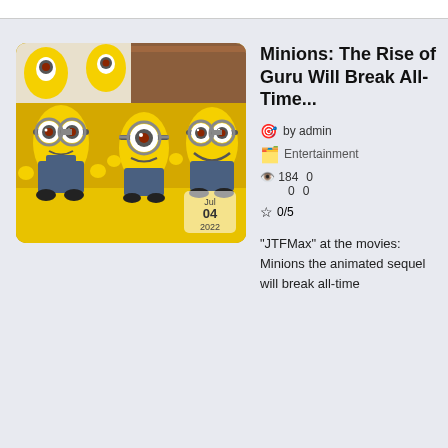[Figure (photo): Photo of costumed Minion characters (from Despicable Me/Minions franchise) standing on a yellow carpet at a movie premiere event. Three full Minion costumes visible — two-eyed, one-eyed, and two-eyed — wearing blue overalls. Yellow background with Minion-themed backdrop. Date overlay shows Jul 04 2022.]
Minions: The Rise of Guru Will Break All-Time...
by admin
Entertainment
184   0   0   0
0/5
"JTFMax" at the movies: Minions the animated sequel will break all-time